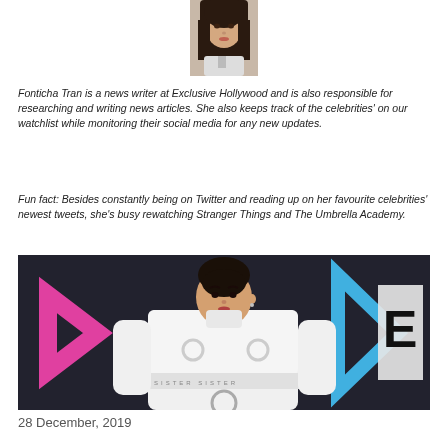[Figure (photo): Small author portrait photo of Fonticha Tran, a young woman with long dark hair]
Fonticha Tran is a news writer at Exclusive Hollywood and is also responsible for researching and writing news articles. She also keeps track of the celebrities' on our watchlist while monitoring their social media for any new updates.
Fun fact: Besides constantly being on Twitter and reading up on her favourite celebrities' newest tweets, she's busy rewatching Stranger Things and The Umbrella Academy.
[Figure (photo): A person with dark hair posing in a white crop jacket with ring hardware details, standing in front of a dark backdrop with pink and blue geometric shapes and an E! network logo]
28 December, 2019